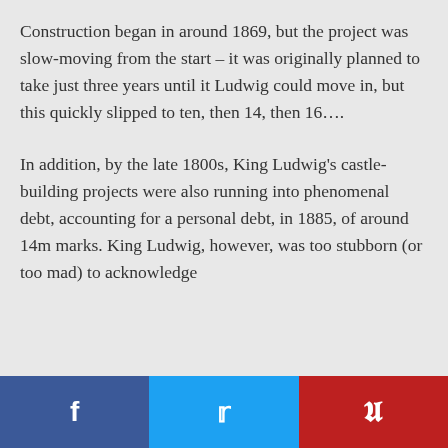Construction began in around 1869, but the project was slow-moving from the start – it was originally planned to take just three years until it Ludwig could move in, but this quickly slipped to ten, then 14, then 16….
In addition, by the late 1800s, King Ludwig's castle-building projects were also running into phenomenal debt, accounting for a personal debt, in 1885, of around 14m marks. King Ludwig, however, was too stubborn (or too mad) to acknowledge